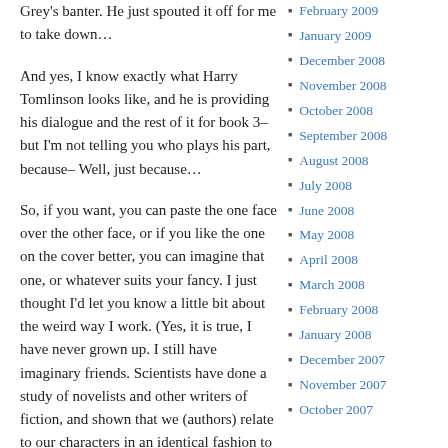Grey's banter. He just spouted it off for me to take down…
And yes, I know exactly what Harry Tomlinson looks like, and he is providing his dialogue and the rest of it for book 3–but I'm not telling you who plays his part, because– Well, just because…
So, if you want, you can paste the one face over the other face, or if you like the one on the cover better, you can imagine that one, or whatever suits your fancy. I just thought I'd let you know a little bit about the weird way I work. (Yes, it is true, I have never grown up. I still have imaginary friends. Scientists have done a study of novelists and other writers of fiction, and shown that we (authors) relate to our characters in an identical fashion to how children relate to their imaginary friends.)
February 2009
January 2009
December 2008
November 2008
October 2008
September 2008
August 2008
July 2008
June 2008
May 2008
April 2008
March 2008
February 2008
January 2008
December 2007
November 2007
October 2007